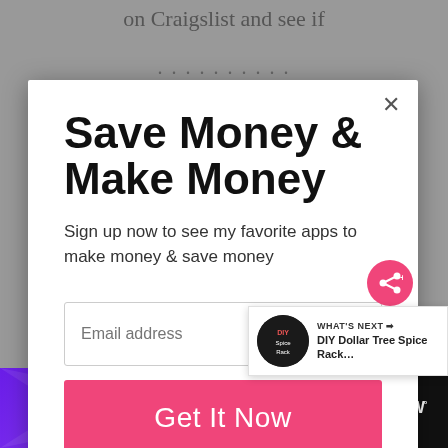on Craigslist and see if
Save Money & Make Money
Sign up now to see my favorite apps to make money & save money
Email address
Get It Now
WHAT'S NEXT → DIY Dollar Tree Spice Rack...
This isn't forever. It's just right now.